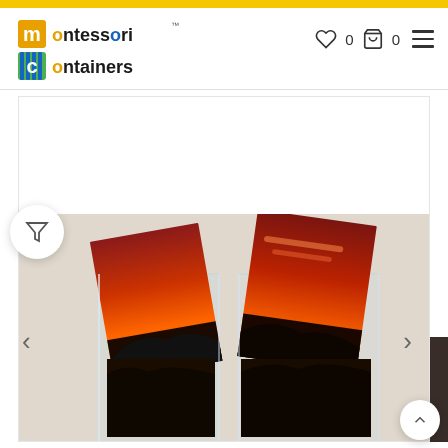[Figure (logo): Montessori Containers logo with colorful letter blocks in orange, blue, green for M and C]
[Figure (screenshot): E-commerce website header with heart wishlist icon showing 0, shopping bag icon showing 0, and hamburger menu icon]
[Figure (photo): Acrylic brochure/photo holder display containing sunset/landscape photos with red and dark sky imagery]
[Figure (infographic): Filter funnel icon button on left side, left and right navigation arrows, scroll-to-top button]